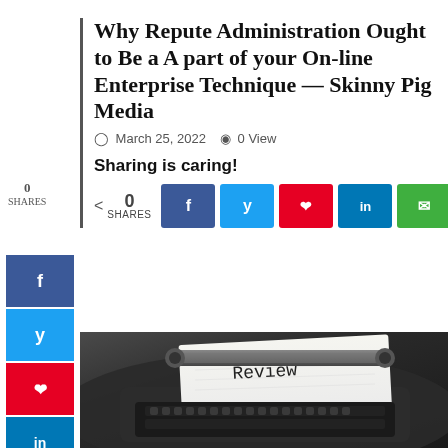Why Repute Administration Ought to Be a A part of your On-line Enterprise Technique — Skinny Pig Media
March 25, 2022   0 View
Sharing is caring!
0 SHARES
[Figure (screenshot): Social share buttons row: Facebook, Twitter, Pinterest, LinkedIn, Email, Print]
[Figure (photo): Close-up photo of a vintage typewriter with a white paper showing the word 'Review']
[Figure (infographic): Left sidebar with vertical social share buttons: Facebook (blue), Twitter (light blue), Pinterest (red), LinkedIn (dark blue), Email (green), Print (gray)]